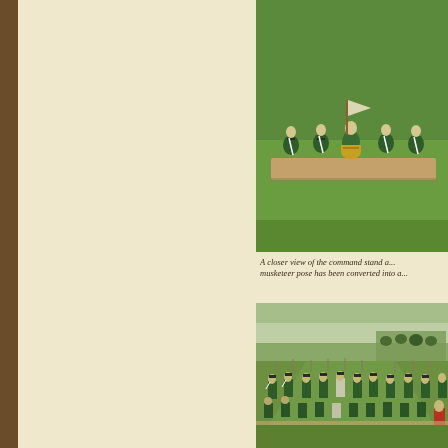[Figure (photo): Close-up view of miniature wargame figures on a command stand, soldiers in green uniforms with tricorn hats on a grassy base, viewed from above at an angle]
A closer view of the command stand a... musketeer pose has been converted into a...
[Figure (photo): Wide battlefield scene with miniature wargame soldiers in green and white uniforms with muskets, advancing in formation across a grassy field, cavalry visible in background]